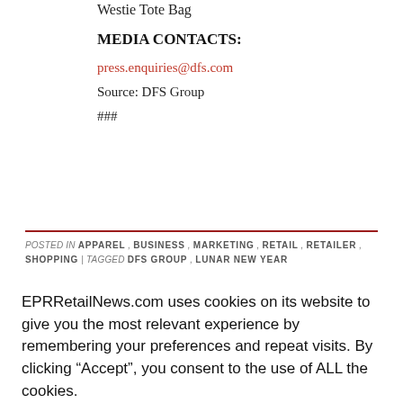Westie Tote Bag
MEDIA CONTACTS:
press.enquiries@dfs.com
Source: DFS Group
###
POSTED IN APPAREL , BUSINESS , MARKETING , RETAIL , RETAILER , SHOPPING | TAGGED DFS GROUP , LUNAR NEW YEAR
EPRRetailNews.com uses cookies on its website to give you the most relevant experience by remembering your preferences and repeat visits. By clicking “Accept”, you consent to the use of ALL the cookies.
Cookie settings
ACCEPT